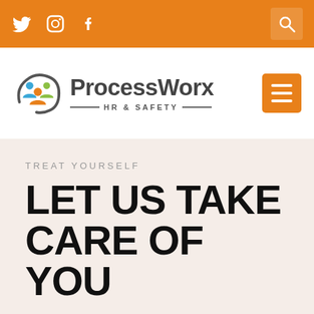Social icons: Twitter, Instagram, Facebook; Search icon
[Figure (logo): ProcessWorx HR & Safety logo with colorful people icon and grey text, plus orange hamburger menu button]
TREAT YOURSELF
LET US TAKE CARE OF YOU